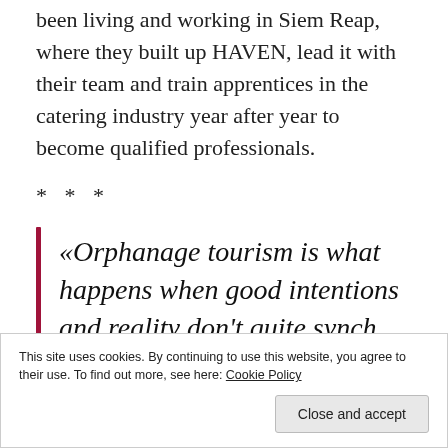been living and working in Siem Reap, where they built up HAVEN, lead it with their team and train apprentices in the catering industry year after year to become qualified professionals.
***
«Orphanage tourism is what happens when good intentions and reality don't quite synch up.»
This site uses cookies. By continuing to use this website, you agree to their use. To find out more, see here: Cookie Policy
Close and accept